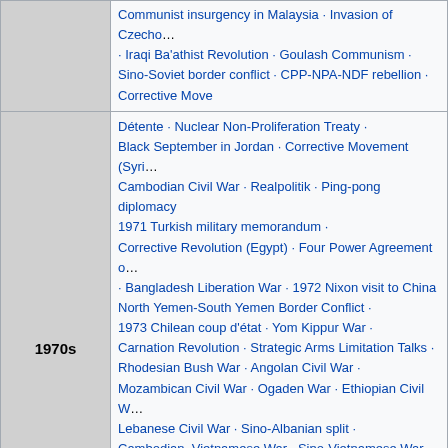| Era | Events |
| --- | --- |
|  | Communist insurgency in Malaysia · Invasion of Czecho... · Iraqi Ba'athist Revolution · Goulash Communism · Sino-Soviet border conflict · CPP-NPA-NDF rebellion · Corrective Move |
| 1970s | Détente · Nuclear Non-Proliferation Treaty · Black September in Jordan · Corrective Movement (Syri... · Cambodian Civil War · Realpolitik · Ping-pong diplomacy · 1971 Turkish military memorandum · Corrective Revolution (Egypt) · Four Power Agreement o... · Bangladesh Liberation War · 1972 Nixon visit to China · North Yemen-South Yemen Border Conflict · 1973 Chilean coup d'état · Yom Kippur War · Carnation Revolution · Strategic Arms Limitation Talks · Rhodesian Bush War · Angolan Civil War · Mozambican Civil War · Ogaden War · Ethiopian Civil W... · Lebanese Civil War · Sino-Albanian split · Cambodian–Vietnamese War · Sino-Vietnamese War · Iranian Revolution · Operation Condor · Dirty War · Korean Air Lines Flight 902 · Saur Revolution · New Jewel Movement · 1979 Herat uprising · Seven Days to the River Rhine · Struggle against political abuse of psychiatry in the Sovi... |
|  | Soviet–Afghan War · 1980 and 1984 Summer Olympics boycotts · 1980 Turkish coup d'... |